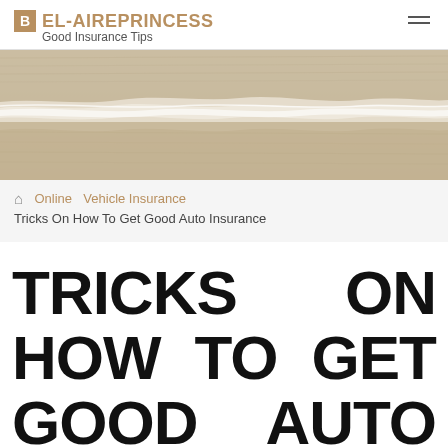BEL-AIREPRINCESS — Good Insurance Tips
[Figure (photo): Aerial view of ocean waves lapping sandy beach, beige and white tones]
Home / Online / Vehicle Insurance / Tricks On How To Get Good Auto Insurance
TRICKS ON HOW TO GET GOOD AUTO INSURANCE